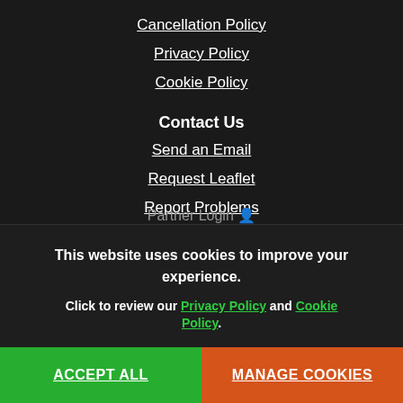Cancellation Policy
Privacy Policy
Cookie Policy
Contact Us
Send an Email
Request Leaflet
Report Problems
Partner Login
This website uses cookies to improve your experience.
Click to review our Privacy Policy and Cookie Policy.
ACCEPT ALL
MANAGE COOKIES